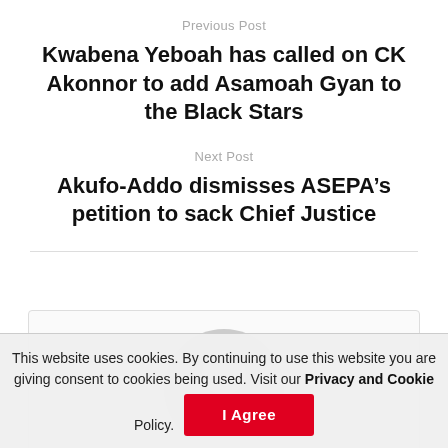Previous Post
Kwabena Yeboah has called on CK Akonnor to add Asamoah Gyan to the Black Stars
Next Post
Akufo-Addo dismisses ASEPA’s petition to sack Chief Justice
[Figure (illustration): Author avatar placeholder — grey circle with person silhouette]
News Reporter
This website uses cookies. By continuing to use this website you are giving consent to cookies being used. Visit our Privacy and Cookie Policy. I Agree